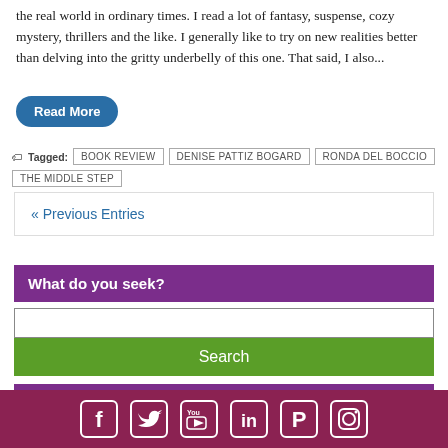the real world in ordinary times. I read a lot of fantasy, suspense, cozy mystery, thrillers and the like. I generally like to try on new realities better than delving into the gritty underbelly of this one. That said, I also...
Read More
Tagged: BOOK REVIEW  DENISE PATTIZ BOGARD  RONDA DEL BOCCIO  THE MIDDLE STEP
« Previous Entries
What do you seek?
Search
Protect Yourself from Negatives
[Figure (infographic): Social media icons row: Facebook, Twitter, YouTube, LinkedIn, Pinterest, Instagram on dark pink/maroon background]